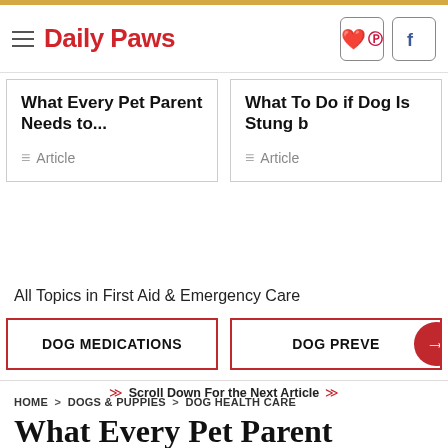Daily Paws
What Every Pet Parent Needs to... — Article
What To Do if Dog Is Stung b... — Article
All Topics in First Aid & Emergency Care
DOG MEDICATIONS
DOG PREVE →
Scroll Down For the Next Article
HOME > DOGS & PUPPIES > DOG HEALTH CARE
What Every Pet Parent Needs to Know About